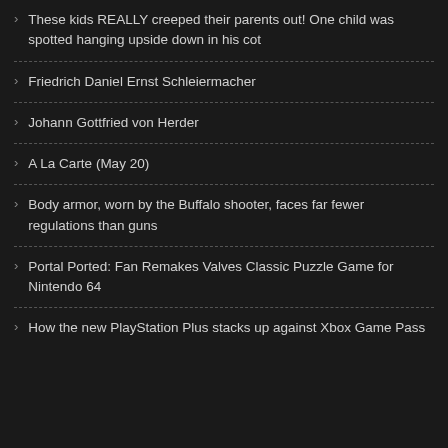These kids REALLY creeped their parents out! One child was spotted hanging upside down in his cot
Friedrich Daniel Ernst Schleiermacher
Johann Gottfried von Herder
A La Carte (May 20)
Body armor, worn by the Buffalo shooter, faces far fewer regulations than guns
Portal Ported: Fan Remakes Valves Classic Puzzle Game for Nintendo 64
How the new PlayStation Plus stacks up against Xbox Game Pass